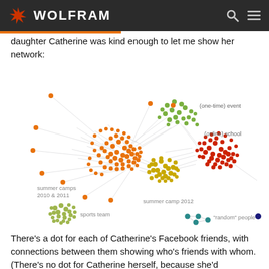WOLFRAM
daughter Catherine was kind enough to let me show her network:
[Figure (network-graph): A Facebook friend network graph for Catherine, showing clusters of nodes colored by group: orange nodes labeled 'summer camps 2010 & 2011', yellow/gold nodes labeled 'summer camp 2012', red nodes labeled '(online) school', green nodes labeled '(one-time) event', olive/green nodes (legend) labeled 'sports team', teal nodes (legend) labeled '"random" people', and a single dark blue node. Nodes are connected by gray edges showing friend connections.]
There's a dot for each of Catherine's Facebook friends, with connections between them showing who's friends with whom. (There's no dot for Catherine herself, because she'd